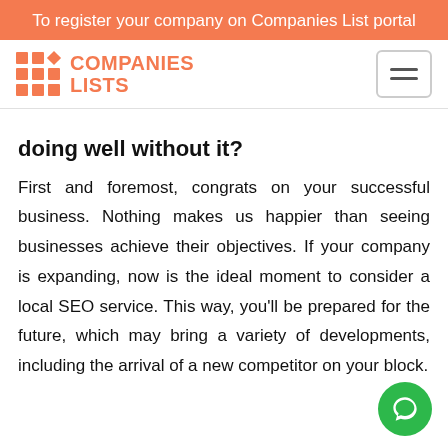To register your company on Companies List portal
[Figure (logo): Companies Lists logo with orange dot grid and diamond icon, text COMPANIES LISTS in orange bold font, and hamburger menu button on the right]
doing well without it?
First and foremost, congrats on your successful business. Nothing makes us happier than seeing businesses achieve their objectives. If your company is expanding, now is the ideal moment to consider a local SEO service. This way, you'll be prepared for the future, which may bring a variety of developments, including the arrival of a new competitor on your block.